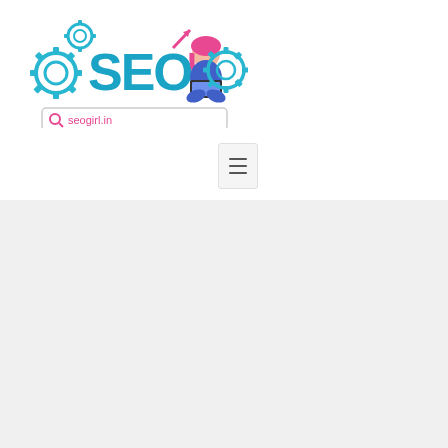[Figure (logo): SEO Girl logo with colorful gear icons, a cartoon girl sitting with a laptop, large teal SEO text, and a search bar showing seogirl.in]
[Figure (other): Small hamburger menu icon button, gray bordered rectangle with three horizontal lines]
Blog